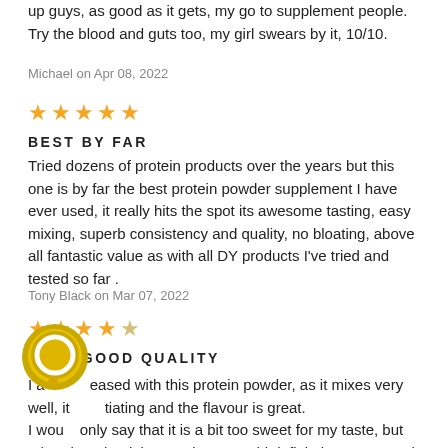up guys, as good as it gets, my go to supplement people. Try the blood and guts too, my girl swears by it, 10/10.
Michael on Apr 08, 2022
[Figure (other): 5 filled gold stars rating]
BEST BY FAR
Tried dozens of protein products over the years but this one is by far the best protein powder supplement I have ever used, it really hits the spot its awesome tasting, easy mixing, superb consistency and quality, no bloating, above all fantastic value as with all DY products I've tried and tested so far .
Tony Black on Mar 07, 2022
[Figure (other): 4 filled gold stars and 1 empty star rating]
VERY GOOD QUALITY
I am pleased with this protein powder, as it mixes very well, it is satiating and the flavour is great.
I would only say that it is a bit too sweet for my taste, but other than that it is amazing. I would definitely recommend it
[Figure (other): Large circular chat bubble icon overlay]